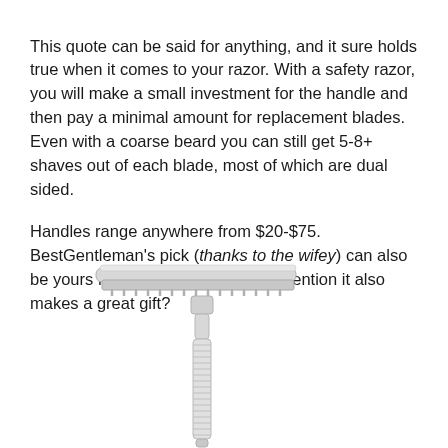This quote can be said for anything, and it sure holds true when it comes to your razor. With a safety razor, you will make a small investment for the handle and then pay a minimal amount for replacement blades. Even with a coarse beard you can still get 5-8+ shaves out of each blade, most of which are dual sided.
Handles range anywhere from $20-$75. BestGentleman's pick (thanks to the wifey) can also be yours from Amazon.com. Did I mention it also makes a great gift?
[Figure (photo): A chrome safety razor with a knurled handle, shown at an angle against a white background. The razor head is visible at the top and the handle extends downward.]